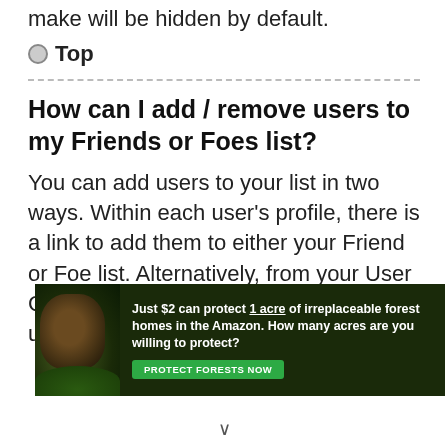make will be hidden by default.
Top
How can I add / remove users to my Friends or Foes list?
You can add users to your list in two ways. Within each user's profile, there is a link to add them to either your Friend or Foe list. Alternatively, from your User Control Panel, you can directly add users by
[Figure (infographic): Advertisement banner: dark forest background with animal (orangutan), text reading 'Just $2 can protect 1 acre of irreplaceable forest homes in the Amazon. How many acres are you willing to protect?' with a green 'PROTECT FORESTS NOW' button.]